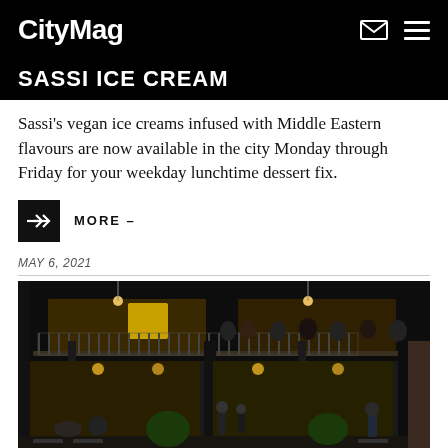CityMag
SASSI ICE CREAM
Sassi's vegan ice creams infused with Middle Eastern flavours are now available in the city Monday through Friday for your weekday lunchtime dessert fix.
MORE –
MAY 6, 2021
[Figure (photo): Night-time exterior photo of a two-storey venue/bar with ornate iron lace balcony railing on upper level with people gathered, and ground floor with warm lighting showing patrons seated and standing outside.]